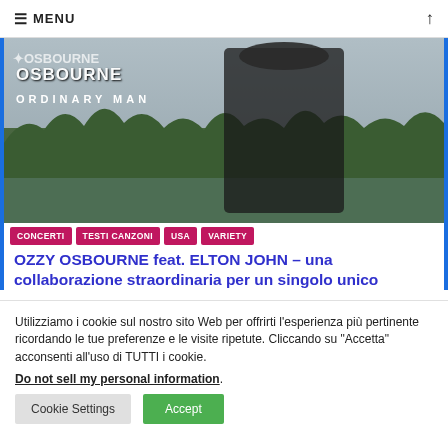MENU
[Figure (photo): Ozzy Osbourne 'Ordinary Man' album cover hero image showing a person in black clothing with a cap looking downward, set against a forest/lake background. Text overlay includes stylized 'OSBOURNE' logo and 'ORDINARY MAN' subtitle.]
CONCERTI
TESTI CANZONI
USA
VARIETY
OZZY OSBOURNE feat. ELTON JOHN – una collaborazione straordinaria per un singolo unico
Utilizziamo i cookie sul nostro sito Web per offrirti l'esperienza più pertinente ricordando le tue preferenze e le visite ripetute. Cliccando su "Accetta" acconsenti all'uso di TUTTI i cookie.
Do not sell my personal information.
Cookie Settings | Accept